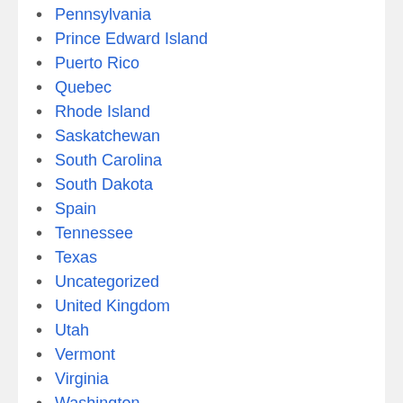Pennsylvania
Prince Edward Island
Puerto Rico
Quebec
Rhode Island
Saskatchewan
South Carolina
South Dakota
Spain
Tennessee
Texas
Uncategorized
United Kingdom
Utah
Vermont
Virginia
Washington
West Virginia
Wisconsin